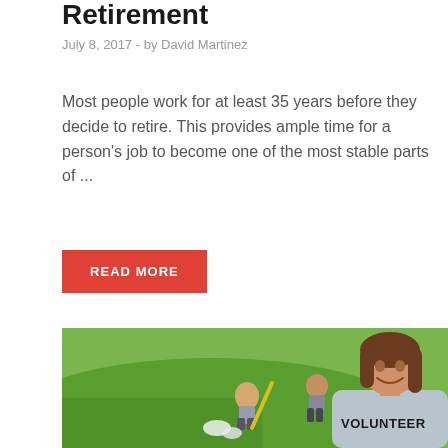Retirement
July 8, 2017  -  by David Martinez
Most people work for at least 35 years before they decide to retire. This provides ample time for a person’s job to become one of the most stable parts of ...
READ MORE
[Figure (photo): A smiling woman in a grey VOLUNTEER t-shirt standing in a park with other volunteers working in the background on a grassy hillside.]